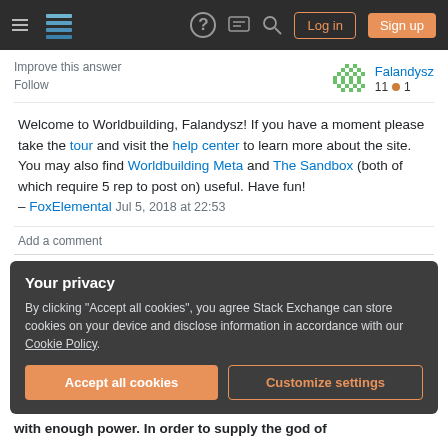Stack Exchange navigation bar with hamburger menu, logo, help, chat, search icons, Log in and Sign up buttons
Improve this answer
Follow
Falandysz 11 ●1
Welcome to Worldbuilding, Falandysz! If you have a moment please take the tour and visit the help center to learn more about the site. You may also find Worldbuilding Meta and The Sandbox (both of which require 5 rep to post on) useful. Have fun!
– FoxElemental Jul 5, 2018 at 22:53
Add a comment
Your privacy
By clicking "Accept all cookies", you agree Stack Exchange can store cookies on your device and disclose information in accordance with our Cookie Policy.
Accept all cookies
Customize settings
with enough power. In order to supply the god of